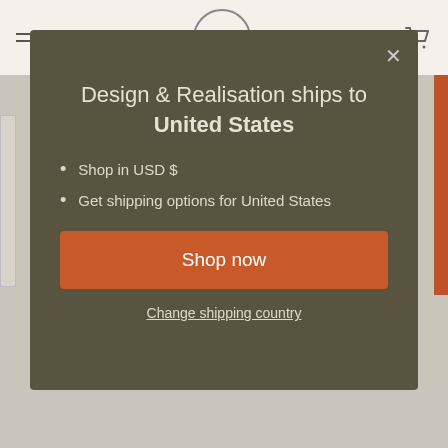[Figure (screenshot): Website navigation bar with hamburger menu icon, circular logo with letters 'Dr' or 'Db', and shopping cart icon on a cream/beige background]
Design & Realisation ships to United States
Shop in USD $
Get shipping options for United States
Shop now
Change shipping country